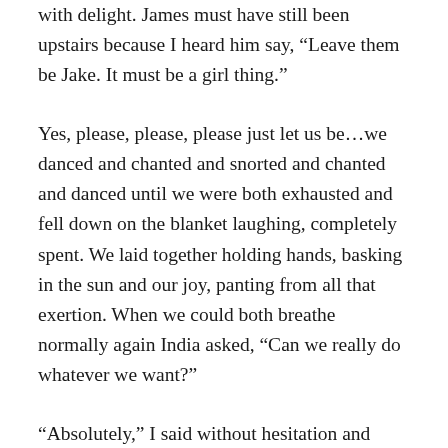with delight. James must have still been upstairs because I heard him say, “Leave them be Jake. It must be a girl thing.”
Yes, please, please, please just let us be…we danced and chanted and snorted and chanted and danced until we were both exhausted and fell down on the blanket laughing, completely spent. We laid together holding hands, basking in the sun and our joy, panting from all that exertion. When we could both breathe normally again India asked, “Can we really do whatever we want?”
“Absolutely,” I said without hesitation and squeezed her hand. I added no caveats for considering consequences